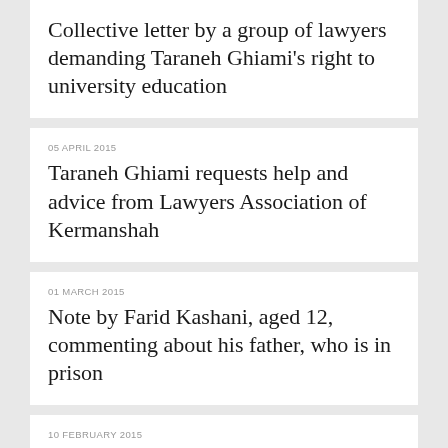Collective letter by a group of lawyers demanding Taraneh Ghiami's right to university education
05 APRIL 2015
Taraneh Ghiami requests help and advice from Lawyers Association of Kermanshah
01 MARCH 2015
Note by Farid Kashani, aged 12, commenting about his father, who is in prison
10 FEBRUARY 2015
Jaras: Supreme Administrative Court bans Baha'is from access to higher education
2015